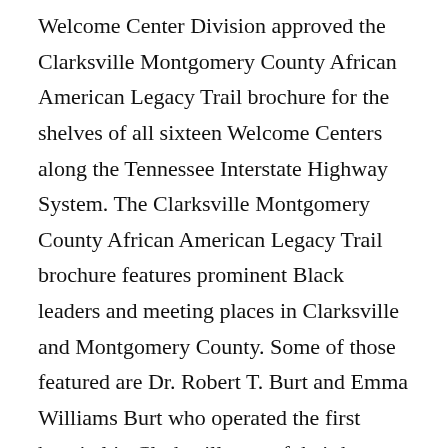Welcome Center Division approved the Clarksville Montgomery County African American Legacy Trail brochure for the shelves of all sixteen Welcome Centers along the Tennessee Interstate Highway System. The Clarksville Montgomery County African American Legacy Trail brochure features prominent Black leaders and meeting places in Clarksville and Montgomery County. Some of those featured are Dr. Robert T. Burt and Emma Williams Burt who operated the first hospital in Clarksville out of their home; as well as Wilma Rudolph, three time gold medalist in the Olympics; Steve Wylie, professional Canadian baseball player; Wilbur N. Daniel, the first African American graduate of Austin Peay State University; Clarence